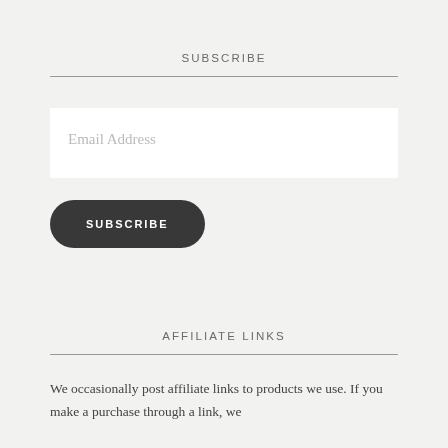SUBSCRIBE
[Figure (other): Email address input field with placeholder text 'Email Address']
[Figure (other): Dark rounded subscribe button with text 'SUBSCRIBE']
AFFILIATE LINKS
We occasionally post affiliate links to products we use. If you make a purchase through a link, we